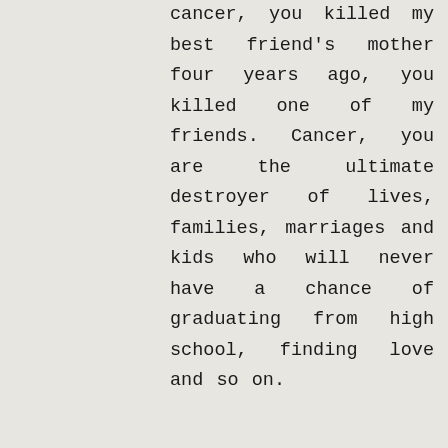uncle three years ago with lung cancer, you killed my best friend's mother four years ago, you killed one of my friends. Cancer, you are the ultimate destroyer of lives, families, marriages and kids who will never have a chance of graduating from high school, finding love and so on.